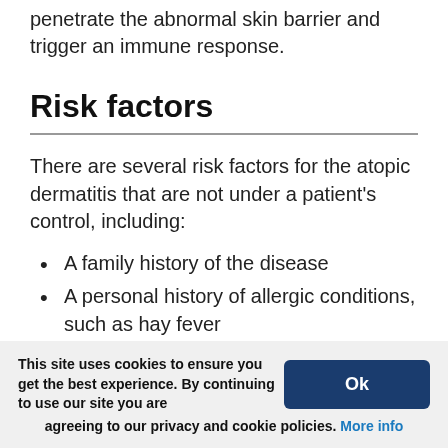penetrate the abnormal skin barrier and trigger an immune response.
Risk factors
There are several risk factors for the atopic dermatitis that are not under a patient's control, including:
A family history of the disease
A personal history of allergic conditions, such as hay fever
A personal history of asthma
A personal history of food allergies
These conditions appear to be part of a
This site uses cookies to ensure you get the best experience. By continuing to use our site you are agreeing to our privacy and cookie policies. More info